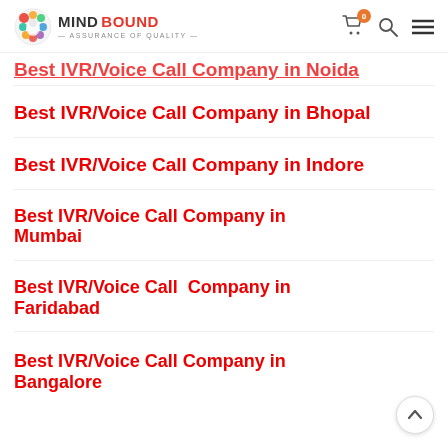MIND BOUND — assurance of quality
Best IVR/Voice Call Company in Noida (partial, cut off)
Best IVR/Voice Call Company in Bhopal
Best IVR/Voice Call Company in Indore
Best IVR/Voice Call Company in Mumbai
Best IVR/Voice Call  Company in Faridabad
Best IVR/Voice Call Company in Bangalore